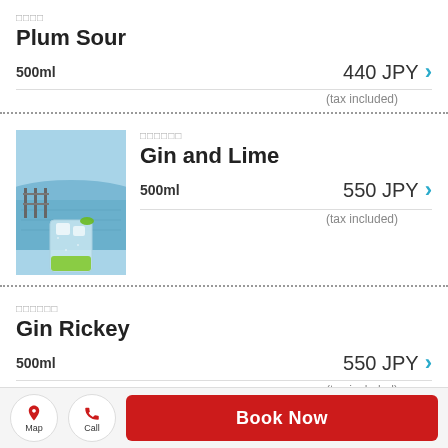□□□□ Plum Sour
500ml  440 JPY (tax included)
[Figure (photo): Photo of a gin and lime drink in a tall glass with ice, set against a scenic waterfront backdrop]
□□□□□□ Gin and Lime
500ml  550 JPY (tax included)
□□□□□□ Gin Rickey
500ml  550 JPY (tax included)